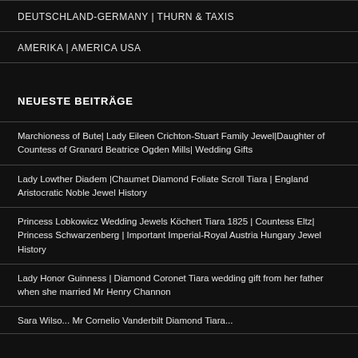DEUTSCHLAND-GERMANY | THURN & TAXIS
AMERIKA | AMERICA USA
NEUESTE BEITRÄGE
Marchioness of Bute| Lady Eileen Crichton-Stuart Family Jewel|Daughter of Countess of Granard Beatrice Ogden Mills| Wedding Gifts
Lady Lowther Diadem |Chaumet Diamond Foliate Scroll Tiara | England Aristocratic Noble Jewel History
Princess Lobkowicz Wedding Jewels Köchert Tiara 1825 | Countess Eltz| Princess Schwarzenberg | Important Imperial-Royal Austria Hungary Jewel History
Lady Honor Guinness | Diamond Coronet Tiara wedding gift from her father when she married Mr Henry Channon
Sara Wilso... Mr Cornelio Vanderbilt Diamond Tiara...